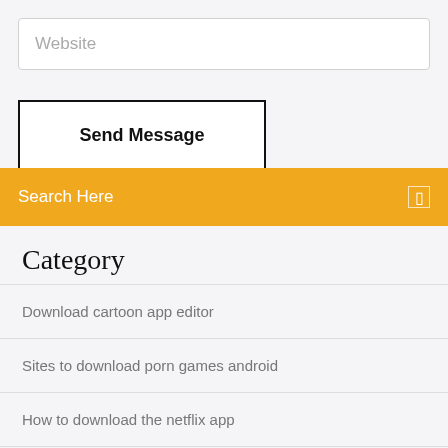Website
Send Message
Search Here
Category
Download cartoon app editor
Sites to download porn games android
How to download the netflix app